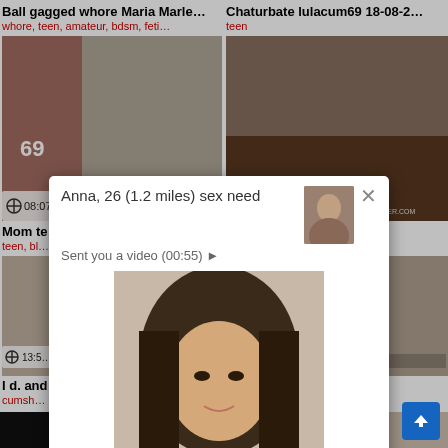Ball gagged whore Maria Marle…
Chaturbate lulacum69 18-08-2…
whore, teen, amateur, bdsm, feti…
teen
[Figure (screenshot): Video thumbnail left top, duration 08:07]
[Figure (screenshot): Video thumbnail right top, duration 08:00, watermark CUTESHOPLIFTER.COM]
Mom te…
Black Teen Shoplifter Big Tits A…
teen, bl…
job, …
[Figure (screenshot): Video thumbnail bottom left, duration 13:5…]
[Figure (screenshot): Video thumbnail bottom right, watermark enera.com]
I d. and
ished…
cumsh…
ob, a…
[Figure (screenshot): Popup notification: Anna, 26 (1.2 miles) sex need — Sent you a video (00:55) with photo of young woman]